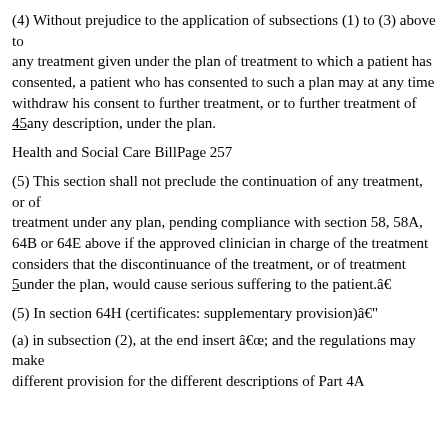(4) Without prejudice to the application of subsections (1) to (3) above to any treatment given under the plan of treatment to which a patient has consented, a patient who has consented to such a plan may at any time withdraw his consent to further treatment, or to further treatment of 45any description, under the plan.
Health and Social Care BillPage 257
(5) This section shall not preclude the continuation of any treatment, or of treatment under any plan, pending compliance with section 58, 58A, 64B or 64E above if the approved clinician in charge of the treatment considers that the discontinuance of the treatment, or of treatment 5under the plan, would cause serious suffering to the patient.â€‹
(5) In section 64H (certificates: supplementary provision)â€“
(a) in subsection (2), at the end insert â€œ; and the regulations may make different provision for the different descriptions of Part 4A